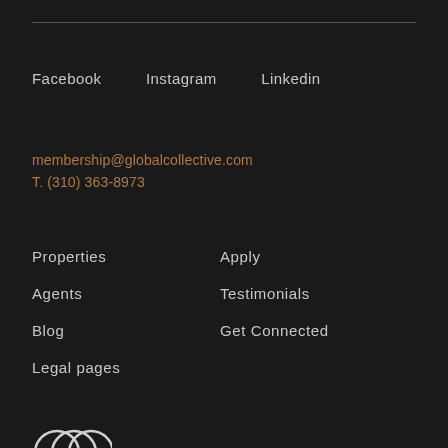Facebook   Instagram   Linkedin
membership@globalcollective.com
T. (310) 363-8973
Properties
Agents
Blog
Legal pages
Apply
Testimonials
Get Connected
[Figure (logo): Circular logo icon at bottom left, partially visible]